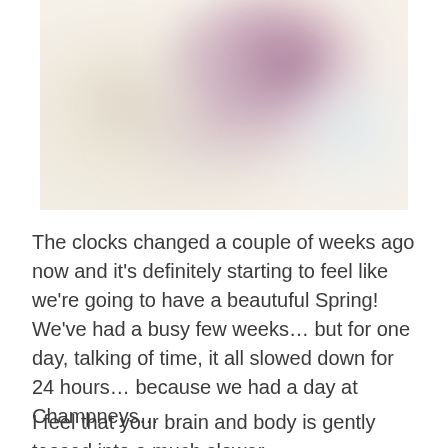[Figure (photo): A blurred, soft-focus photograph with pastel tones — pinkish-purple and cream/white hues, suggesting flowers or spring foliage. The image is heavily blurred and abstract.]
The clocks changed a couple of weeks ago now and it's definitely starting to feel like we're going to have a beautuful Spring! We've had a busy few weeks… but for one day, talking of time, it all slowed down for 24 hours… because we had a day at Champneys…
I feel that your brain and body is gently teased into a much slower